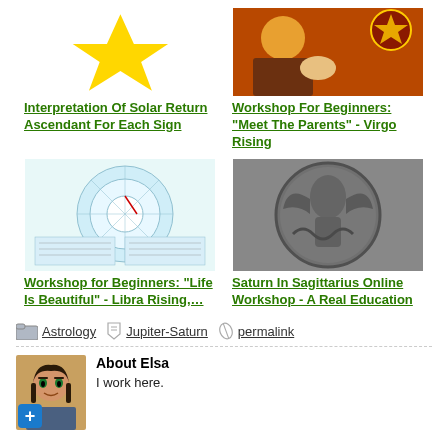[Figure (illustration): Yellow star icon for Interpretation Of Solar Return Ascendant article]
Interpretation Of Solar Return Ascendant For Each Sign
[Figure (illustration): Tarot-style colorful illustration for Workshop For Beginners Meet The Parents Virgo Rising article]
Workshop For Beginners: "Meet The Parents" - Virgo Rising
[Figure (other): Astrological birth chart wheel diagram for Workshop for Beginners Life Is Beautiful Libra Rising article]
Workshop for Beginners: "Life Is Beautiful" - Libra Rising,...
[Figure (photo): Metal relief sculpture coin medallion for Saturn In Sagittarius Online Workshop article]
Saturn In Sagittarius Online Workshop - A Real Education
Astrology   Jupiter-Saturn   permalink
About Elsa
I work here.